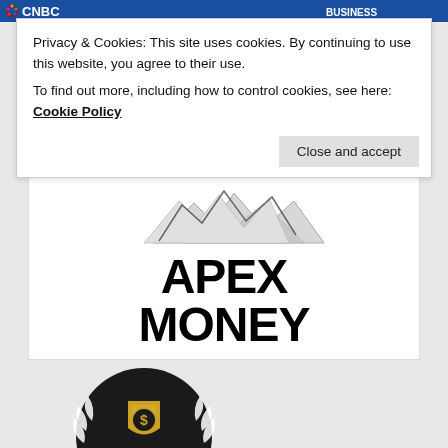CNBC | BUSINESS INSIDER
Privacy & Cookies: This site uses cookies. By continuing to use this website, you agree to their use.
To find out more, including how to control cookies, see here: Cookie Policy
Close and accept
[Figure (logo): Apex Money logo: mountain peaks illustration above bold text reading APEX MONEY]
[Figure (logo): Dark circular badge logo with gold shield and dollar sign, surrounded by laurel wreath]